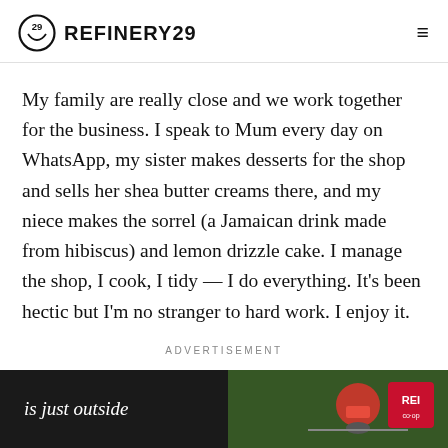REFINERY29
My family are really close and we work together for the business. I speak to Mum every day on WhatsApp, my sister makes desserts for the shop and sells her shea butter creams there, and my niece makes the sorrel (a Jamaican drink made from hibiscus) and lemon drizzle cake. I manage the shop, I cook, I tidy — I do everything. It's been hectic but I'm no stranger to hard work. I enjoy it.
ADVERTISEMENT
[Figure (other): Advertisement banner for REI co-op showing cyclist in outdoor setting with text 'is just outside']